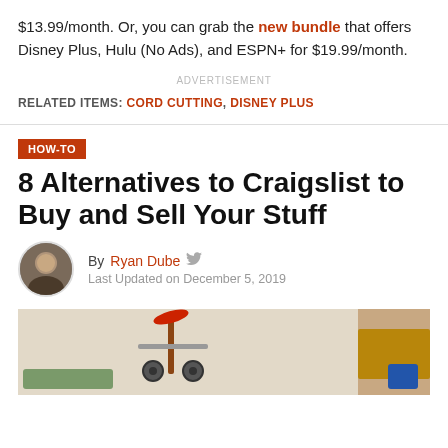$13.99/month. Or, you can grab the new bundle that offers Disney Plus, Hulu (No Ads), and ESPN+ for $19.99/month.
ADVERTISEMENT
RELATED ITEMS: CORD CUTTING, DISNEY PLUS
HOW-TO
8 Alternatives to Craigslist to Buy and Sell Your Stuff
By Ryan Dube
Last Updated on December 5, 2019
[Figure (photo): Photograph of items for sale including a bicycle and other items, partially visible at bottom of page]